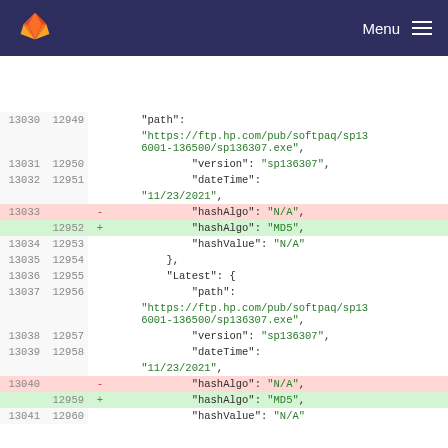Menu
| old_line | new_line | marker | code |
| --- | --- | --- | --- |
| 13030 | 12949 |  |     "path": |
|  |  |  |     "https://ftp.hp.com/pub/softpaq/sp136001-136500/sp136307.exe", |
| 13031 | 12950 |  |             "version": "sp136307", |
| 13032 | 12951 |  |             "dateTime": |
|  |  |  |     "11/23/2021", |
| 13033 |  | - |             "hashAlgo": "N/A", |
|  | 12952 | + |             "hashAlgo": "MD5", |
| 13034 | 12953 |  |             "hashValue": "N/A" |
| 13035 | 12954 |  |         }, |
| 13036 | 12955 |  |         "Latest": { |
| 13037 | 12956 |  |             "path": |
|  |  |  |     "https://ftp.hp.com/pub/softpaq/sp136001-136500/sp136307.exe", |
| 13038 | 12957 |  |             "version": "sp136307", |
| 13039 | 12958 |  |             "dateTime": |
|  |  |  |     "11/23/2021", |
| 13040 |  | - |             "hashAlgo": "N/A", |
|  | 12959 | + |             "hashAlgo": "MD5", |
| 13041 | 12960 |  |             "hashValue": "N/A" |